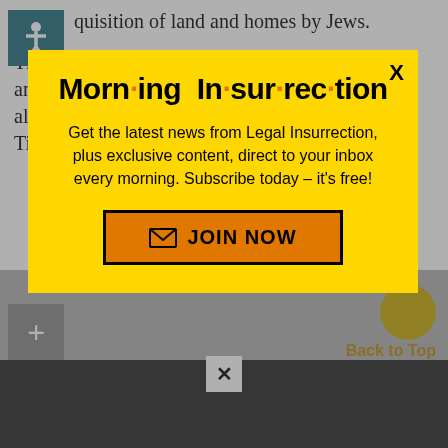quisition of land and homes by Jews.
This is not the first time The Times has sanitized anti-Semitic Egyptian clerics.  When Sheik Yusuf al-Qaradawi returned to Egypt in February The Times
[Figure (screenshot): Modal popup with yellow background for Morning Insurrection newsletter signup. Title reads 'Morn·ing In·sur·rec·tion' with orange dots. Body text: 'Get the latest news from Legal Insurrection, plus exclusive content, direct to your inbox every morning. Subscribe today – it's free!' Orange JOIN NOW button with envelope icon. X close button top right.]
Back to Top